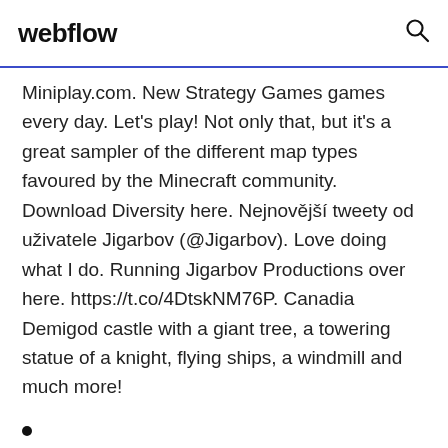webflow
Miniplay.com. New Strategy Games games every day. Let's play! Not only that, but it's a great sampler of the different map types favoured by the Minecraft community. Download Diversity here. Nejnovější tweety od uživatele Jigarbov (@Jigarbov). Love doing what I do. Running Jigarbov Productions over here. https://t.co/4DtskNM76P. Canadia Demigod castle with a giant tree, a towering statue of a knight, flying ships, a windmill and much more!